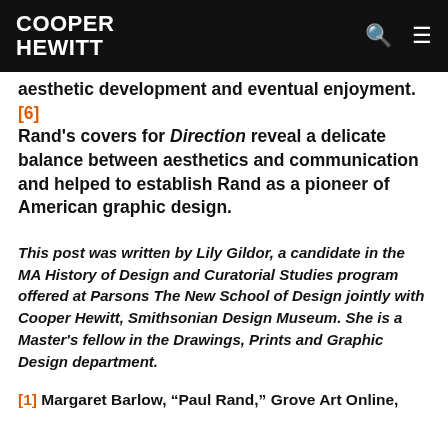COOPER HEWITT
aesthetic development and eventual enjoyment. [6] Rand's covers for Direction reveal a delicate balance between aesthetics and communication and helped to establish Rand as a pioneer of American graphic design.
This post was written by Lily Gildor, a candidate in the MA History of Design and Curatorial Studies program offered at Parsons The New School of Design jointly with Cooper Hewitt, Smithsonian Design Museum. She is a Master's fellow in the Drawings, Prints and Graphic Design department.
[1] Margaret Barlow, “Paul Rand,” Grove Art Online,